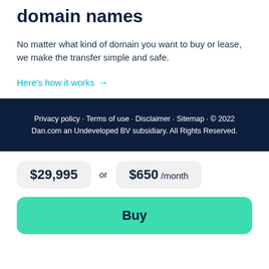domain names
No matter what kind of domain you want to buy or lease, we make the transfer simple and safe.
Here's how it works →
Privacy policy · Terms of use · Disclaimer · Sitemap · © 2022 Dan.com an Undeveloped BV subsidiary. All Rights Reserved.
$29,995 or $650 /month
Buy